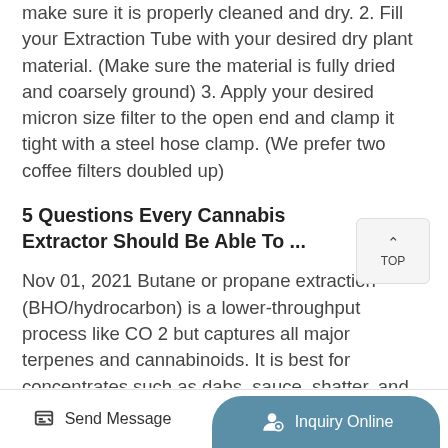make sure it is properly cleaned and dry. 2. Fill your Extraction Tube with your desired dry plant material. (Make sure the material is fully dried and coarsely ground) 3. Apply your desired micron size filter to the open end and clamp it tight with a steel hose clamp. (We prefer two coffee filters doubled up)
5 Questions Every Cannabis Extractor Should Be Able To ...
Nov 01, 2021 Butane or propane extraction (BHO/hydrocarbon) is a lower-throughput process like CO 2 but captures all major terpenes and cannabinoids. It is best for concentrates such as dabs, sauce, shatter, and diamonds, which are gaining popularity with consumers. A C1D1 control zone for explosive gases is required.... Partner with
Send Message   Inquiry Online